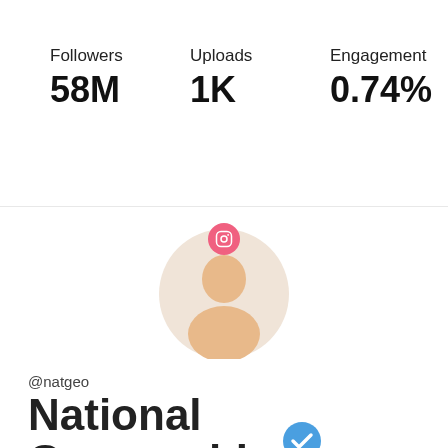Followers 58M
Uploads 1K
Engagement 0.74%
[Figure (illustration): Generic profile avatar with pink Instagram badge on top, inside a circular frame with beige background]
@natgeo
National Geographic